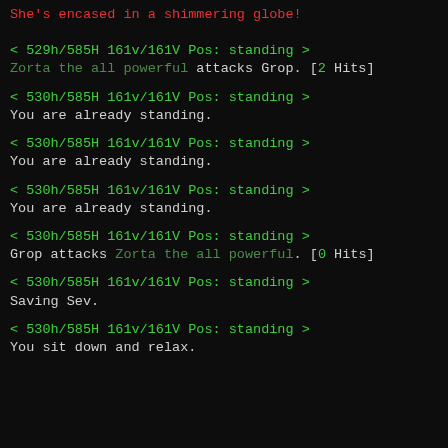She's encased in a shimmering globe!
< 529h/585H 161v/161V Pos: standing >
Zorta the all powerful attacks Grop. [2 Hits]
< 530h/585H 161v/161V Pos: standing >
You are already standing.
< 530h/585H 161v/161V Pos: standing >
You are already standing.
< 530h/585H 161v/161V Pos: standing >
You are already standing.
< 530h/585H 161v/161V Pos: standing >
Grop attacks Zorta the all powerful. [0 Hits]
< 530h/585H 161v/161V Pos: standing >
Saving Sev.
< 530h/585H 161v/161V Pos: standing >
You sit down and relax.